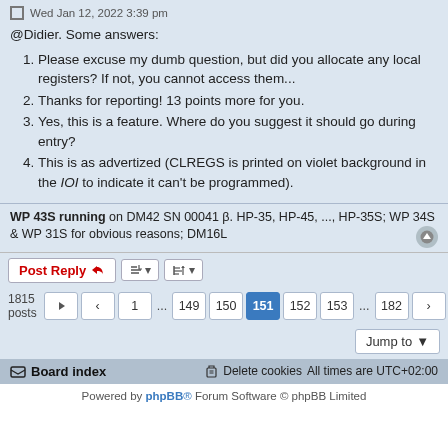Wed Jan 12, 2022 3:39 pm
@Didier. Some answers:
Please excuse my dumb question, but did you allocate any local registers? If not, you cannot access them...
Thanks for reporting! 13 points more for you.
Yes, this is a feature. Where do you suggest it should go during entry?
This is as advertized (CLREGS is printed on violet background in the IOI to indicate it can't be programmed).
WP 43S running on DM42 SN 00041 β. HP-35, HP-45, ..., HP-35S; WP 34S & WP 31S for obvious reasons; DM16L
Post Reply | tools | sort
1815 posts  1 ... 149 150 151 152 153 ... 182
Jump to
Board index   Delete cookies   All times are UTC+02:00
Powered by phpBB® Forum Software © phpBB Limited